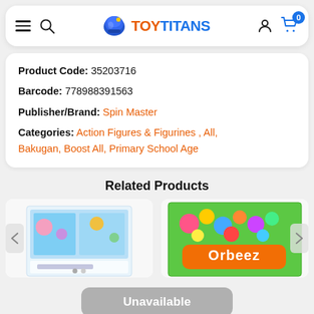Toy Titans — navigation header with hamburger, search, logo, user icon, cart (0)
Product Code: 35203716
Barcode: 778988391563
Publisher/Brand: Spin Master
Categories: Action Figures & Figurines , All, Bakugan, Boost All, Primary School Age
Related Products
[Figure (photo): Product thumbnail – Gabby's Dollhouse toy set (left panel)]
[Figure (photo): Product thumbnail – Orbeez toy set (right panel)]
Unavailable